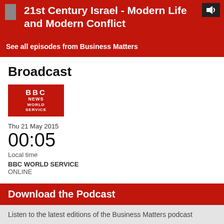21st Century Israel - Modern Life and Modern Conflict
See all episodes from Business Matters
Broadcast
[Figure (logo): BBC News World Service logo - white text on red background]
Thu 21 May 2015
00:05
Local time
BBC WORLD SERVICE
ONLINE
Download the Podcast
Listen to the latest editions of the Business Matters podcast
Listen to the latest podcast